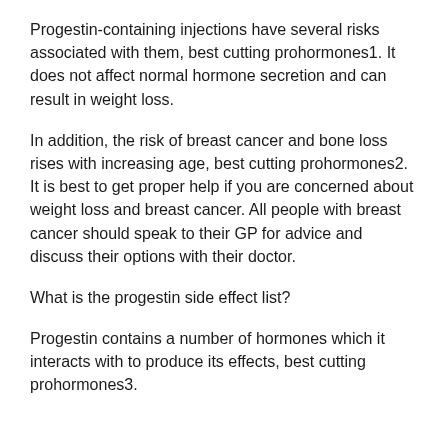Progestin-containing injections have several risks associated with them, best cutting prohormones1. It does not affect normal hormone secretion and can result in weight loss.
In addition, the risk of breast cancer and bone loss rises with increasing age, best cutting prohormones2. It is best to get proper help if you are concerned about weight loss and breast cancer. All people with breast cancer should speak to their GP for advice and discuss their options with their doctor.
What is the progestin side effect list?
Progestin contains a number of hormones which it interacts with to produce its effects, best cutting prohormones3.